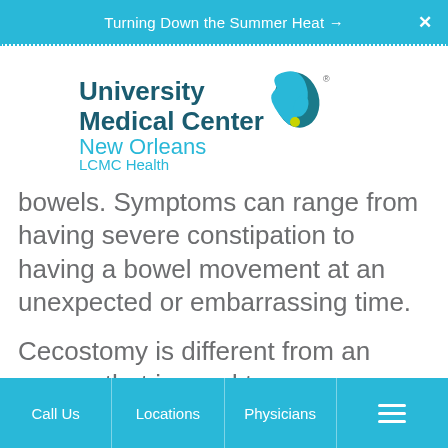Turning Down the Summer Heat →
[Figure (logo): University Medical Center New Orleans LCMC Health logo with teal and dark teal heart/leaf graphic]
bowels. Symptoms can range from having severe constipation to having a bowel movement at an unexpected or embarrassing time.
Cecostomy is different from an enema that is used to ease constipation. An
Call Us | Locations | Physicians | Menu